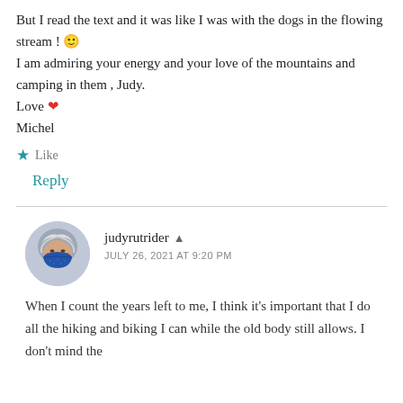But I read the text and it was like I was with the dogs in the flowing stream ! 🙂
I am admiring your energy and your love of the mountains and camping in them , Judy.
Love ❤
Michel
★ Like
Reply
judyrutrider 👤
JULY 26, 2021 AT 9:20 PM
When I count the years left to me, I think it's important that I do all the hiking and biking I can while the old body still allows. I don't mind the